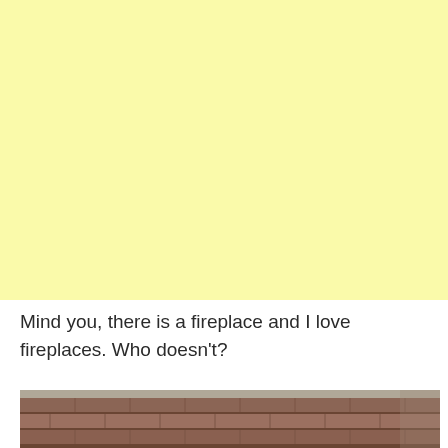[Figure (other): Large pale yellow block occupying the upper two-thirds of the page, likely an image area placeholder or cropped image with a light yellow background.]
Mind you, there is a fireplace and I love fireplaces. Who doesn’t?
[Figure (photo): Photograph of a brick wall, showing aged red and brown bricks, partially visible at the bottom of the page.]